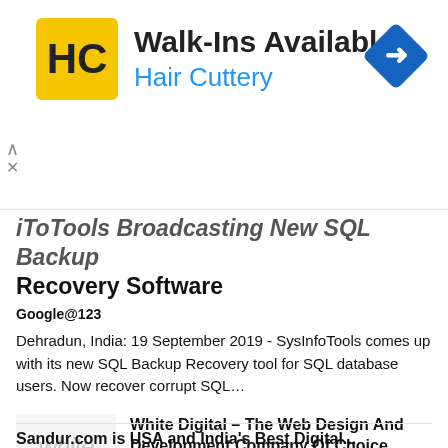[Figure (infographic): Advertisement banner for Hair Cuttery with HC logo, Walk-Ins Available headline, blue Hair Cuttery subtext, and a blue diamond navigation arrow icon]
iToTools Broadcasting New SQL Backup Recovery Software
Google@123
Dehradun, India: 19 September 2019 - SysInfoTools comes up with its new SQL Backup Recovery tool for SQL database users. Now recover corrupt SQL...
[Figure (logo): White Digital company logo in light gray text with 'white' in large italic font and 'digital' in small tracking letters below]
White Digital – The Web Design And Development Company Of Choice...
Exquisite Infant Photography Available At Annie Marshall Photography
Sandur.com is USA and India's Best Digital...